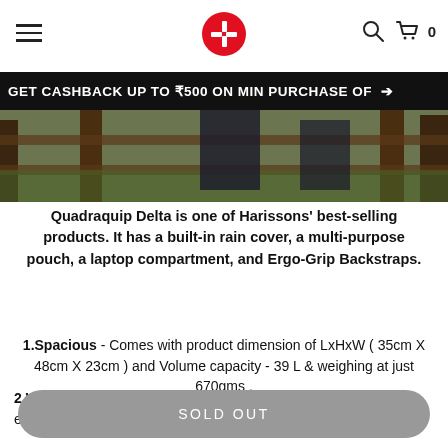Harissons logo with hamburger menu and cart icon
GET CASHBACK UP TO ₹500 ON MIN PURCHASE OF
[Figure (photo): Product image showing Quadraquip Delta backpack outdoor scene with wooden fence and grass background]
Quadraquip Delta is one of Harissons' best-selling products. It has a built-in rain cover, a multi-purpose pouch, a laptop compartment, and Ergo-Grip Backstraps.
1.Spacious - Comes with product dimension of LxHxW ( 35cm X 48cm X 23cm ) and Volume capacity - 39 L & weighing at just 670gms .
2.Water Resistance - With up to 90% water repellency and an elasticated circumference, our rain protector fits easily
SOLD OUT